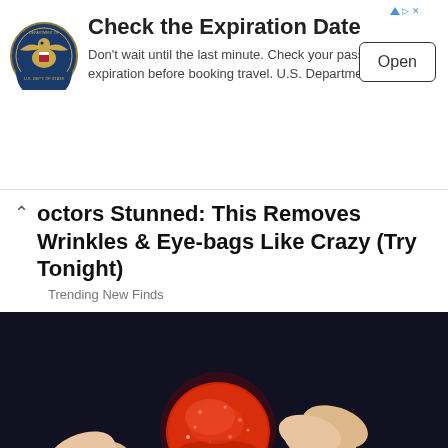[Figure (screenshot): Advertisement banner from U.S. Department of State about checking passport expiration date, with eagle seal logo, title 'Check the Expiration Date', description text, and an 'Open' button.]
Doctors Stunned: This Removes Wrinkles & Eye-bags Like Crazy (Try Tonight)
Trending New Finds
[Figure (photo): Close-up photo of a hand holding a small round red sugary gummy candy against a dark background.]